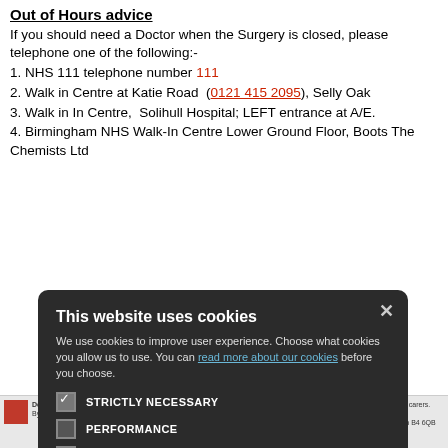Out of Hours advice
If you should need a Doctor when the Surgery is closed, please telephone one of the following:-
1. NHS 111 telephone number 111
2. Walk in Centre at Katie Road (0121 415 2095), Selly Oak
3. Walk in In Centre, Solihull Hospital; LEFT entrance at A/E.
4. Birmingham NHS Walk-In Centre Lower Ground Floor, Boots The Chemists Ltd
1 255 4500 )
[Figure (screenshot): Cookie consent modal dialog on a medical/NHS website. Title: 'This website uses cookies'. Body text: 'We use cookies to improve user experience. Choose what cookies you allow us to use. You can read more about our cookies before you choose.' Checkboxes: STRICTLY NECESSARY (checked), PERFORMANCE (unchecked), TARGETING (unchecked), FUNCTIONALITY (unchecked). Buttons: ACCEPT ALL (green), DECLINE ALL (outlined).]